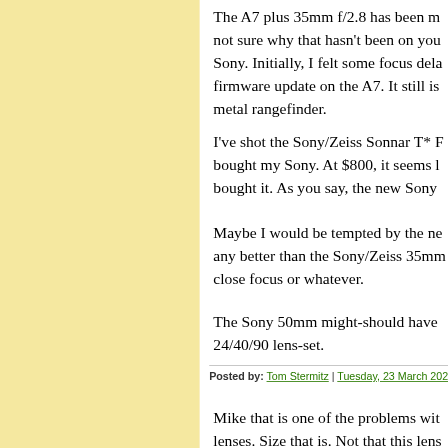The A7 plus 35mm f/2.8 has been m... not sure why that hasn't been on you... Sony. Initially, I felt some focus dela... firmware update on the A7. It still is... metal rangefinder.
I've shot the Sony/Zeiss Sonnar T* F... bought my Sony. At $800, it seems l... bought it. As you say, the new Sony...
Maybe I would be tempted by the ne... any better than the Sony/Zeiss 35mm... close focus or whatever.
The Sony 50mm might-should have... 24/40/90 lens-set.
Posted by: Tom Stermitz | Tuesday, 23 March 2021 at...
Mike that is one of the problems wit... lenses. Size that is. Not that this lens...